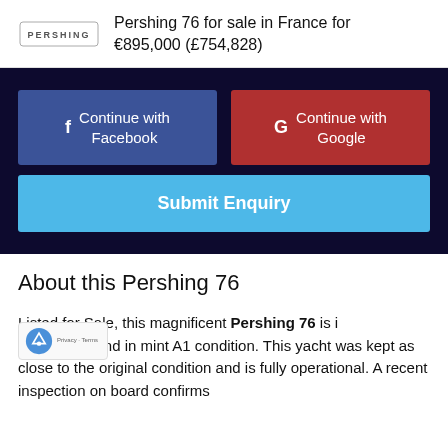Pershing 76 for sale in France for €895,000 (£754,828)
[Figure (screenshot): Dark panel with social login buttons: Continue with Facebook (blue) and Continue with Google (red), plus a Submit Enquiry button (light blue)]
About this Pershing 76
Listed for Sale, this magnificent Pershing 76 is immaculate and in mint A1 condition. This yacht was kept as close to the original condition and is fully operational. A recent inspection on board confirms